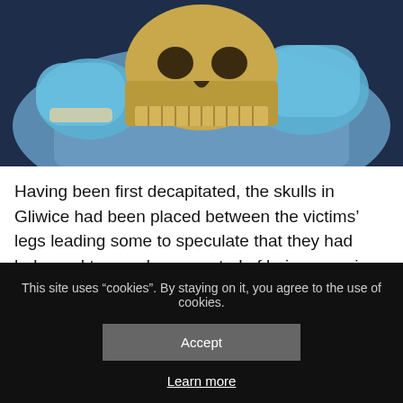[Figure (photo): Person wearing blue latex gloves and blue scrubs holding a human skull, examining it. Dark background with the hands and skull prominently featured.]
Having been first decapitated, the skulls in Gliwice had been placed between the victims’ legs leading some to speculate that they had belonged to people suspected of being vampires.
Tomasz Wiktor/PAP
A team of dentists from Katowice have subjected
This site uses "cookies". By staying on it, you agree to the use of cookies.
Accept
Learn more